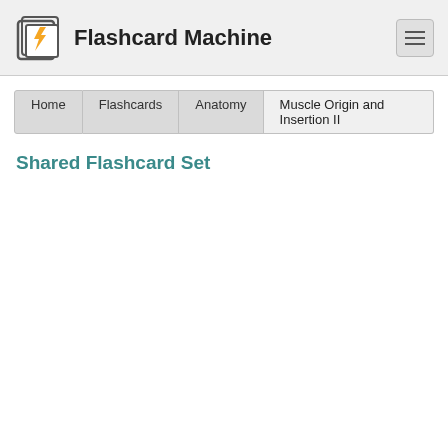Flashcard Machine
Home > Flashcards > Anatomy > Muscle Origin and Insertion II
Shared Flashcard Set